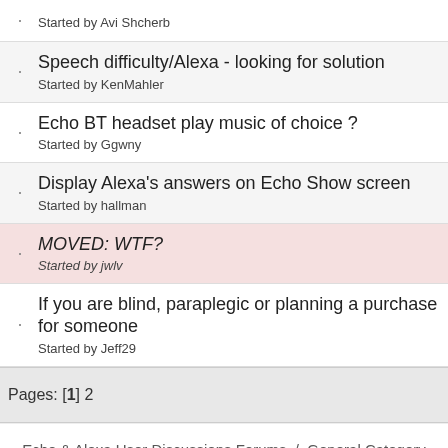Started by Avi Shcherb
Speech difficulty/Alexa - looking for solution
Started by KenMahler
Echo BT headset play music of choice ?
Started by Ggwny
Display Alexa's answers on Echo Show screen
Started by hallman
MOVED: WTF?
Started by jwlv
If you are blind, paraplegic or planning a purchase for someone
Started by Jeff29
Pages: [1] 2
Echo & Alexa User Discussions Forums / General Category / Alexa Assistive Technologies